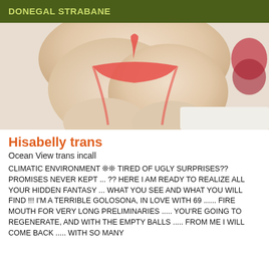DONEGAL STRABANE
[Figure (photo): Partial photo of a person in red/pink bikini bottom, cropped view from behind]
Hisabelly trans
Ocean View trans incall
CLIMATIC ENVIRONMENT ❊❊ TIRED OF UGLY SURPRISES?? PROMISES NEVER KEPT ... ?? HERE I AM READY TO REALIZE ALL YOUR HIDDEN FANTASY ... WHAT YOU SEE AND WHAT YOU WILL FIND !!! I'M A TERRIBLE GOLOSONA, IN LOVE WITH 69 ...... FIRE MOUTH FOR VERY LONG PRELIMINARIES ..... YOU'RE GOING TO REGENERATE, AND WITH THE EMPTY BALLS ..... FROM ME I WILL COME BACK ..... WITH SO MANY